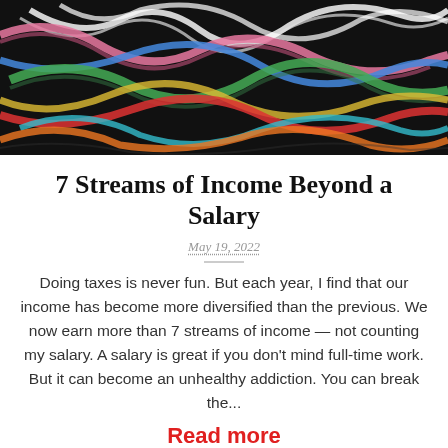[Figure (photo): Colorful ribbons or streamers tangled together on a dark background — decorative header image for blog post about income streams.]
7 Streams of Income Beyond a Salary
May 19, 2022
Doing taxes is never fun. But each year, I find that our income has become more diversified than the previous. We now earn more than 7 streams of income — not counting my salary. A salary is great if you don't mind full-time work. But it can become an unhealthy addiction. You can break the...
Read more